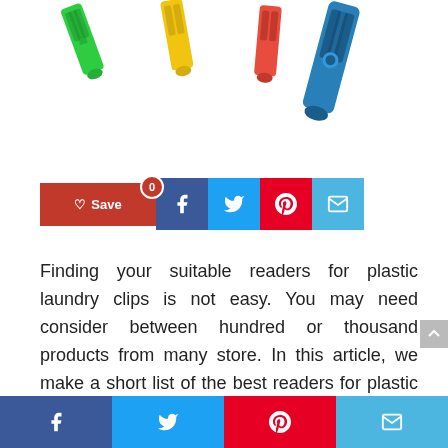[Figure (photo): Colorful plastic laundry clips/clothespins in green, yellow, red, and blue arranged diagonally on a white background.]
[Figure (infographic): Social share buttons row: red Save/heart button with 0 count, Facebook blue button, Twitter light-blue button, Pinterest red button, Email teal button.]
Finding your suitable readers for plastic laundry clips is not easy. You may need consider between hundred or thousand products from many store. In this article, we make a short list of the best readers for plastic laundry clips including detail information and customer reviews. Let’s find out which is your favorite one.
Facebook | Twitter | Pinterest | Email